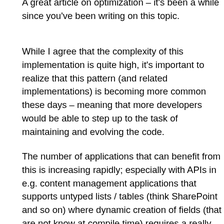A great article on optimization – it's been a while since you've been writing on this topic.
While I agree that the complexity of this implementation is quite high, it's important to realize that this pattern (and related implementations) is becoming more common these days – meaning that more developers would be able to step up to the task of maintaining and evolving the code.
The number of applications that can benefit from this is increasing rapidly; especially with APIs in e.g. content management applications that supports untyped lists / tables (think SharePoint and so on) where dynamic creation of fields (that are not know at compile time) requires a really fast implementation.
The performance of the untyped lists (and thus their